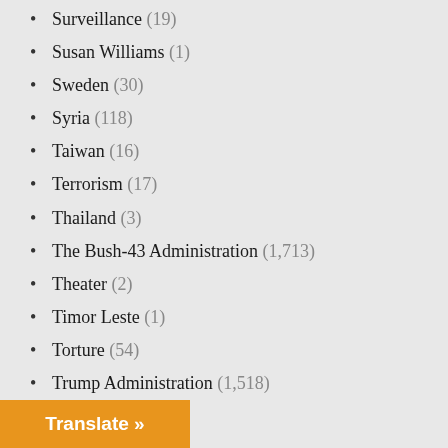Surveillance (19)
Susan Williams (1)
Sweden (30)
Syria (118)
Taiwan (16)
Terrorism (17)
Thailand (3)
The Bush-43 Administration (1,713)
Theater (2)
Timor Leste (1)
Torture (54)
Trump Administration (1,518)
Tunisia (5)
Turkey (37)
U.S. (1,382)
U.S. Congress (111)
U.S. Supreme Courrt (13)
Ukraine (327)
United Kingdom d (110)